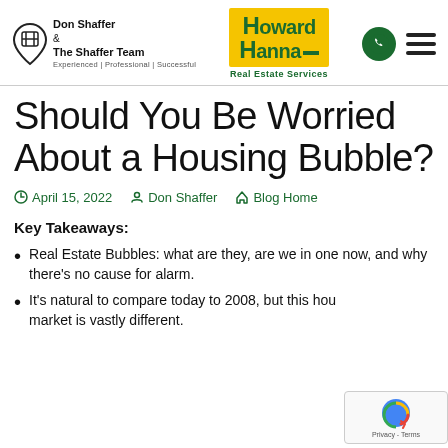Don Shaffer & The Shaffer Team — Experienced | Professional | Successful — Howard Hanna Real Estate Services
Should You Be Worried About a Housing Bubble?
April 15, 2022  Don Shaffer  Blog Home
Key Takeaways:
Real Estate Bubbles: what are they, are we in one now, and why there's no cause for alarm.
It's natural to compare today to 2008, but this housing market is vastly different.